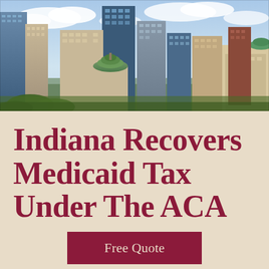[Figure (photo): Aerial cityscape photo of Indianapolis, Indiana showing downtown skyscrapers, green dome of the Indiana State House, and urban buildings under a partly cloudy sky.]
Indiana Recovers Medicaid Tax Under The ACA
Free Quote